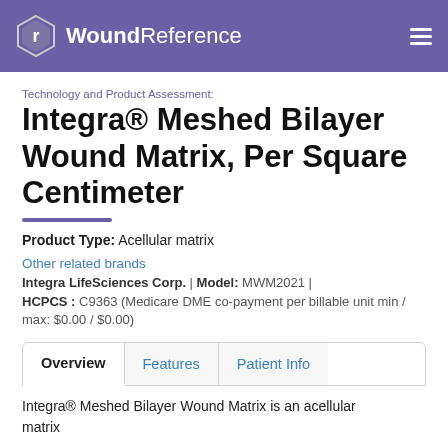WoundReference
Technology and Product Assessment:
Integra® Meshed Bilayer Wound Matrix, Per Square Centimeter
Product Type: Acellular matrix
Other related brands
Integra LifeSciences Corp. | Model: MWM2021 | HCPCS : C9363 (Medicare DME co-payment per billable unit min / max: $0.00 / $0.00)
Overview  Features  Patient Info
Integra® Meshed Bilayer Wound Matrix is an acellular matrix